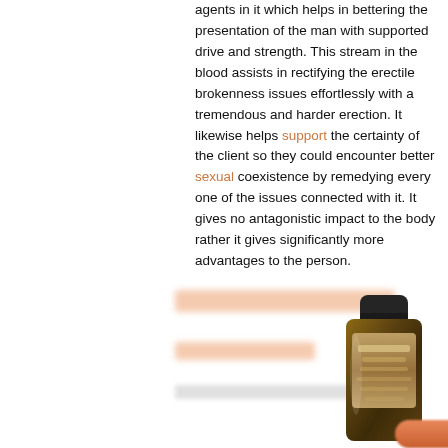agents in it which helps in bettering the presentation of the man with supported drive and strength. This stream in the blood assists in rectifying the erectile brokenness issues effortlessly with a tremendous and harder erection. It likewise helps support the certainty of the client so they could encounter better sexual coexistence by remedying every one of the issues connected with it. It gives no antagonistic impact to the body rather it gives significantly more advantages to the person.
[Figure (photo): Product bottle (supplement) with dark cap and brown body, shown on the right side of a blurred product section with orange/pink highlighted text blocks and a call-to-action button at the bottom.]